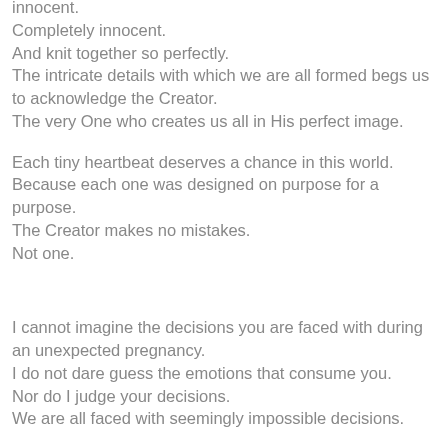innocent.
Completely innocent.
And knit together so perfectly.
The intricate details with which we are all formed begs us to acknowledge the Creator.
The very One who creates us all in His perfect image.

Each tiny heartbeat deserves a chance in this world.
Because each one was designed on purpose for a purpose.
The Creator makes no mistakes.
Not one.


I cannot imagine the decisions you are faced with during an unexpected pregnancy.
I do not dare guess the emotions that consume you.
Nor do I judge your decisions.
We are all faced with seemingly impossible decisions.